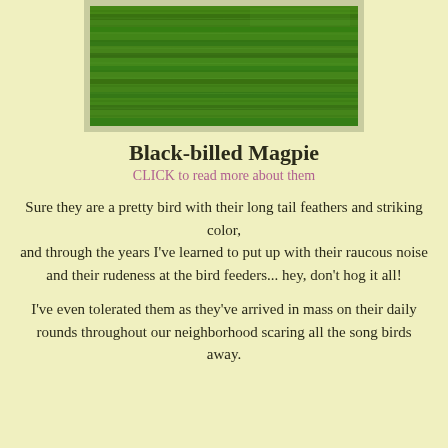[Figure (photo): Photo of grass/green lawn taken from above, with a light gray-green border frame]
Black-billed Magpie
CLICK to read more about them
Sure they are a pretty bird with their long tail feathers and striking color,
and through the years I've learned to put up with their raucous noise
and their rudeness at the bird feeders... hey, don't hog it all!
I've even tolerated them as they've arrived in mass on their daily rounds throughout our neighborhood scaring all the song birds away.